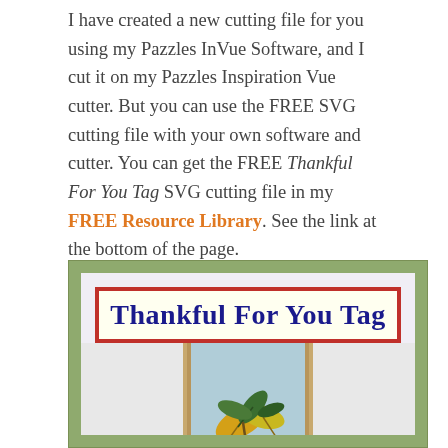I have created a new cutting file for you using my Pazzles InVue Software, and I cut it on my Pazzles Inspiration Vue cutter. But you can use the FREE SVG cutting file with your own software and cutter. You can get the FREE Thankful For You Tag SVG cutting file in my FREE Resource Library. See the link at the bottom of the page.
[Figure (photo): Craft project image showing a 'Thankful For You Tag' banner in navy text on cream background with red border, and below it a decorative tag shape with autumn leaves on a light blue background, set within a sage green matted frame.]